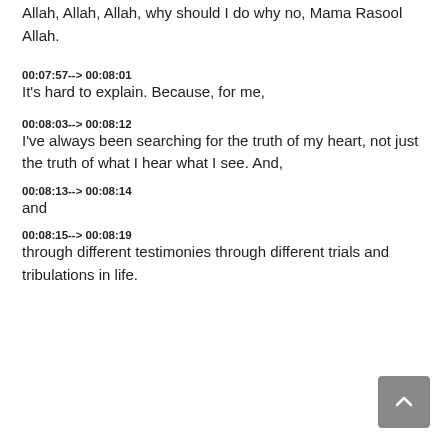Allah, Allah, Allah, why should I do why no, Mama Rasool Allah.
00:07:57--> 00:08:01
It's hard to explain. Because, for me,
00:08:03--> 00:08:12
I've always been searching for the truth of my heart, not just the truth of what I hear what I see. And,
00:08:13--> 00:08:14
and
00:08:15--> 00:08:19
through different testimonies through different trials and tribulations in life.